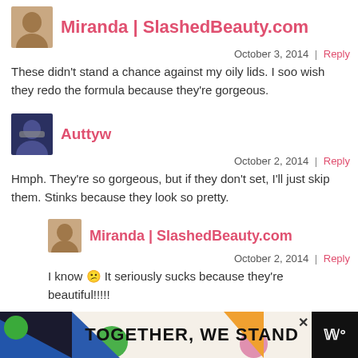Miranda | SlashedBeauty.com
October 3, 2014 | Reply
These didn't stand a chance against my oily lids. I soo wish they redo the formula because they're gorgeous.
Auttyw
October 2, 2014 | Reply
Hmph. They're so gorgeous, but if they don't set, I'll just skip them. Stinks because they look so pretty.
Miranda | SlashedBeauty.com
October 2, 2014 | Reply
I know 😕 It seriously sucks because they're beautiful!!!!!
Nidia Doherty
October 2, 2014 | Reply
I really want to try these, but I don't want to spend the money on the
[Figure (infographic): Advertisement banner reading TOGETHER, WE STAND with colorful geometric shapes on cream background and dark right panel with logo]